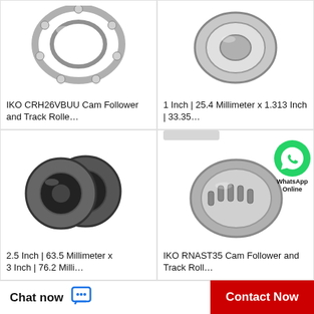[Figure (photo): Ball bearing / cam follower product photo, top-left, partially cropped]
IKO CRH26VBUU Cam Follower and Track Rolle…
[Figure (photo): Roller bearing product photo, top-right, partially cropped]
1 Inch | 25.4 Millimeter x 1.313 Inch | 33.35…
[Figure (photo): Two cylindrical roller bearings product photo, bottom-left]
2.5 Inch | 63.5 Millimeter x 3 Inch | 76.2 Milli…
[Figure (photo): IKO RNAST35 tapered roller bearing product photo with WhatsApp Online overlay, bottom-right]
IKO RNAST35 Cam Follower and Track Roll…
Chat now   Contact Now